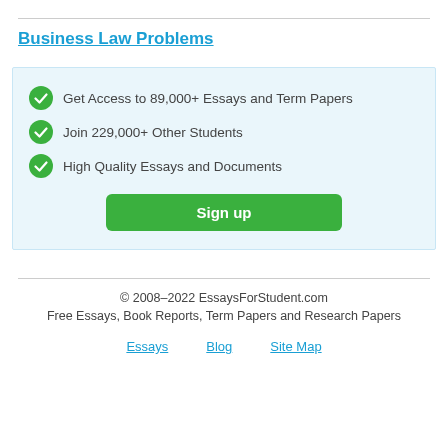Business Law Problems
Get Access to 89,000+ Essays and Term Papers
Join 229,000+ Other Students
High Quality Essays and Documents
Sign up
© 2008–2022 EssaysForStudent.com
Free Essays, Book Reports, Term Papers and Research Papers
Essays   Blog   Site Map